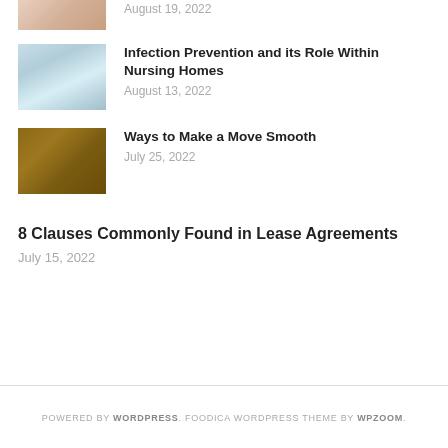[Figure (photo): Partial image visible at top left, cropped]
August 19, 2022
[Figure (photo): Blue/light colored fabric or masks image]
Infection Prevention and its Role Within Nursing Homes
August 13, 2022
[Figure (photo): Wooden texture or woven material image]
Ways to Make a Move Smooth
July 25, 2022
8 Clauses Commonly Found in Lease Agreements
July 15, 2022
POWERED BY WORDPRESS. FOODICA WORDPRESS THEME BY WPZOOM.